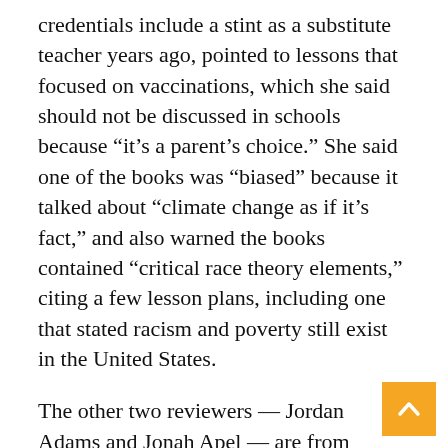credentials include a stint as a substitute teacher years ago, pointed to lessons that focused on vaccinations, which she said should not be discussed in schools because “it’s a parent’s choice.” She said one of the books was “biased” because it talked about “climate change as if it’s fact,” and also warned the books contained “critical race theory elements,” citing a few lesson plans, including one that stated racism and poverty still exist in the United States.
The other two reviewers — Jordan Adams and Jonah Apel — are from Hillsdale College in Michigan, a Christian school that has become influential in conservative politics. Adams is a civics education specialist at the college, and Apel, the college sophomore, is listed as the secretary of the Hillsdale College Republicans...